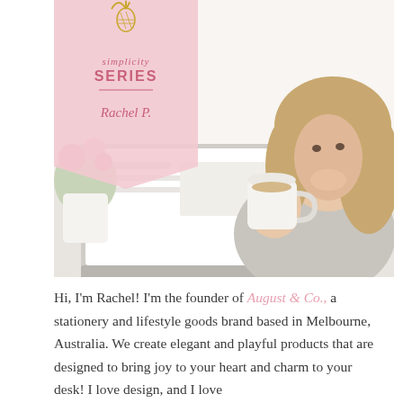[Figure (photo): A smiling young woman with long blonde hair holding a white coffee mug, sitting at a desk with a laptop and pink flowers in the background. She is wearing a light grey knit sweater.]
[Figure (illustration): A pink banner/ribbon overlay with a pineapple icon at top, text reading 'simplicity SERIES' with a horizontal line and 'Rachel P.' in pink italic script below.]
Hi, I'm Rachel! I'm the founder of August & Co., a stationery and lifestyle goods brand based in Melbourne, Australia. We create elegant and playful products that are designed to bring joy to your heart and charm to your desk! I love design, and I love